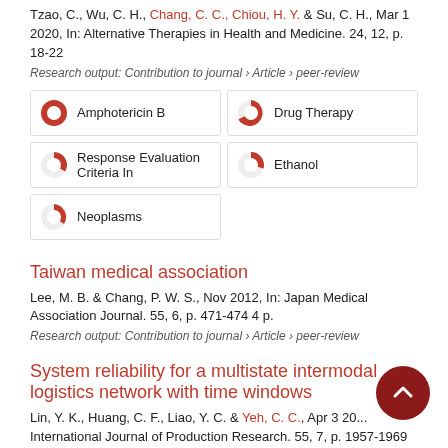Tzao, C., Wu, C. H., Chang, C. C., Chiou, H. Y. & Su, C. H., Mar 1 2020, In: Alternative Therapies in Health and Medicine. 24, 12, p. 18-22
Research output: Contribution to journal › Article › peer-review
[Figure (infographic): Five keyword badges with pie-chart percentage icons: Amphotericin B (100%), Drug Therapy (~60%), Response Evaluation Criteria In (~30%), Ethanol (~35%), Neoplasms (~25%)]
Taiwan medical association
Lee, M. B. & Chang, P. W. S., Nov 2012, In: Japan Medical Association Journal. 55, 6, p. 471-474 4 p.
Research output: Contribution to journal › Article › peer-review
System reliability for a multistate intermodal logistics network with time windows
Lin, Y. K., Huang, C. F., Liao, Y. C. & Yeh, C. C., Apr 3 20... International Journal of Production Research. 55, 7, p. 1957-1969 13 p.